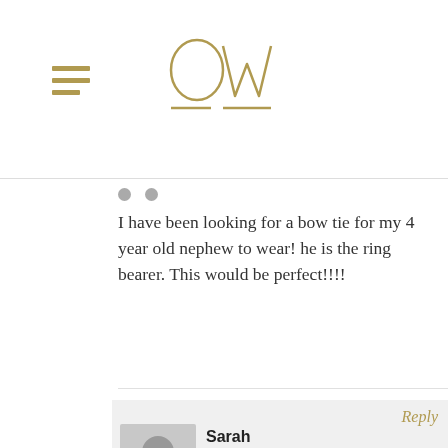OW (logo)
I have been looking for a bow tie for my 4 year old nephew to wear! he is the ring bearer. This would be perfect!!!!
Reply
Sarah
07.07.10 at 10:22 am
This would be perfect for a vintage wedding! Our colors are yellow and gray. I absolutely love the fabric.